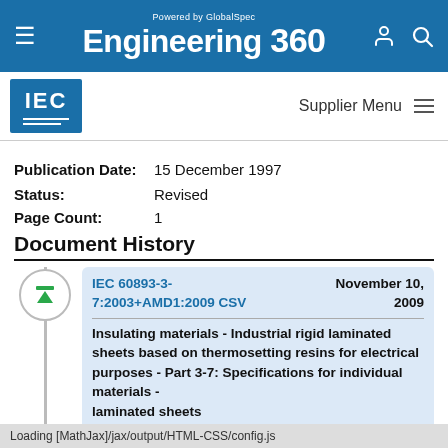Powered by GlobalSpec Engineering 360
[Figure (logo): IEC logo — blue square with IEC text and two horizontal lines]
Supplier Menu
Publication Date: 15 December 1997
Status: Revised
Page Count: 1
Document History
IEC 60893-3-7:2003+AMD1:2009 CSV  November 10, 2009
Insulating materials - Industrial rigid laminated sheets based on thermosetting resins for electrical purposes - Part 3-7: Specifications for individual materials - laminated sheets
Loading [MathJax]/jax/output/HTML-CSS/config.js